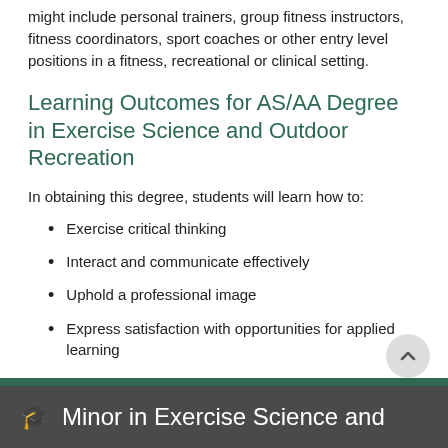might include personal trainers, group fitness instructors, fitness coordinators, sport coaches or other entry level positions in a fitness, recreational or clinical setting.
Learning Outcomes for AS/AA Degree in Exercise Science and Outdoor Recreation
In obtaining this degree, students will learn how to:
Exercise critical thinking
Interact and communicate effectively
Uphold a professional image
Express satisfaction with opportunities for applied learning
Minor in Exercise Science and